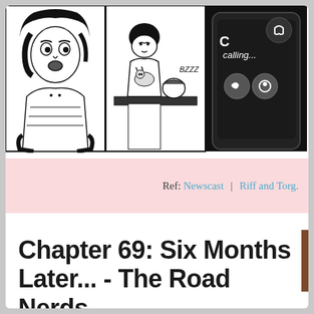[Figure (illustration): Three-panel comic strip showing: left panel - a girl with short hair looking surprised/concerned; middle panel - a small child/girl with a cat near a counter with 'BZZZ' sound effect; right panel - a close-up of a phone/device screen showing 'calling...' with icons]
Ref: Newscast | Riff and Torg.
Chapter 69: Six Months Later... - The Road Nerds